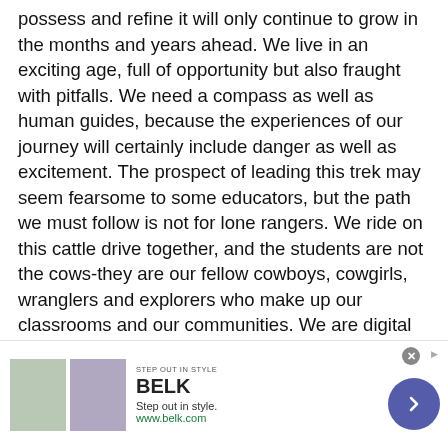possess and refine it will only continue to grow in the months and years ahead. We live in an exciting age, full of opportunity but also fraught with pitfalls. We need a compass as well as human guides, because the experiences of our journey will certainly include danger as well as excitement. The prospect of leading this trek may seem fearsome to some educators, but the path we must follow is not for lone rangers. We ride on this cattle drive together, and the students are not the cows-they are our fellow cowboys, cowgirls, wranglers and explorers who make up our classrooms and our communities. We are digital pioneers in a vast landscape of opportunity, and while a cattle prod may seem like the most useful tool to some veterans, the savvy will recognize their own willingness to learn new ideas and techniques is the
[Figure (other): Advertisement banner for BELK department store. Shows 'STEP OUT IN STYLE' label, BELK logo in bold, two product images (clothing/fashion), tagline 'Step out in style.' and URL 'www.belk.com', with a purple circular arrow button on the right.]